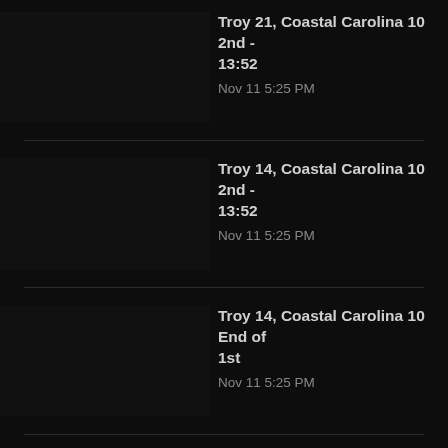Troy 21, Coastal Carolina 10  2nd - 13:52
Nov 11 5:25 PM
Troy 14, Coastal Carolina 10  2nd - 13:52
Nov 11 5:25 PM
Troy 14, Coastal Carolina 10  End of 1st
Nov 11 5:25 PM
Troy 0, Coastal Carolina 10  End of 1st
Nov 11 5:25 PM
Troy 14, Coastal Carolina 10  2nd - 13:52